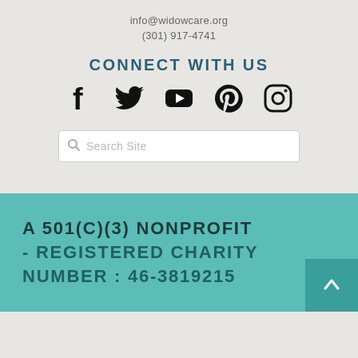info@widowcare.org
(301) 917-4741
CONNECT WITH US
[Figure (infographic): Social media icons: Facebook, Twitter, YouTube, Pinterest, Instagram]
[Figure (other): Search bar with magnifying glass icon and placeholder text 'Search Site']
A 501(C)(3) NONPROFIT - REGISTERED CHARITY NUMBER : 46-3819215